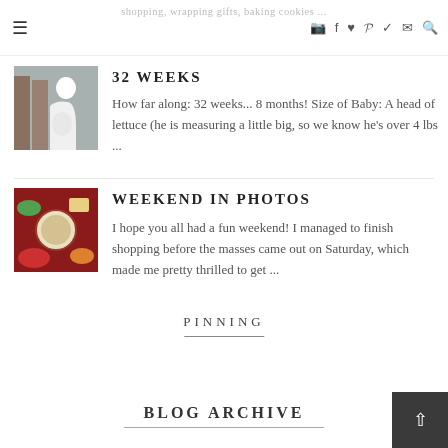shopping, wrapping gifts, baking cookies ...
32 WEEKS
How far along: 32 weeks... 8 months! Size of Baby: A head of lettuce (he is measuring a little big, so we know he's over 4 lbs ...
WEEKEND IN PHOTOS
I hope you all had a fun weekend! I managed to finish shopping before the masses came out on Saturday, which made me pretty thrilled to get ...
PINNING
BLOG ARCHIVE